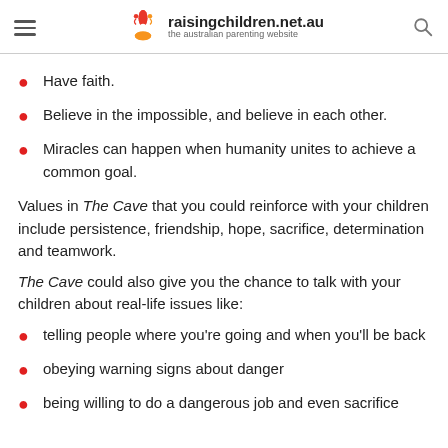raisingchildren.net.au — the australian parenting website
Have faith.
Believe in the impossible, and believe in each other.
Miracles can happen when humanity unites to achieve a common goal.
Values in The Cave that you could reinforce with your children include persistence, friendship, hope, sacrifice, determination and teamwork.
The Cave could also give you the chance to talk with your children about real-life issues like:
telling people where you're going and when you'll be back
obeying warning signs about danger
being willing to do a dangerous job and even sacrifice